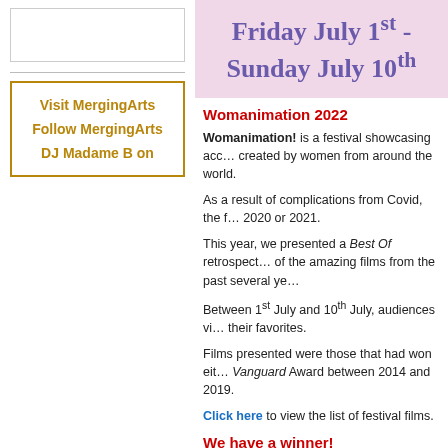[Figure (other): Empty white box at top of left column]
Visit MergingArts
Follow MergingArts
DJ Madame B on
Friday July 1st - Sunday July 10th
Womanimation 2022
Womanimation! is a festival showcasing animation created by women from around the world.
As a result of complications from Covid, the festival did not take place in 2020 or 2021.
This year, we presented a Best Of retrospective showcasing some of the amazing films from the past several years.
Between 1st July and 10th July, audiences viewed the films and voted for their favorites.
Films presented were those that had won either the Audience Award or Vanguard Award between 2014 and 2019.
Click here to view the list of festival films.
We have a winner!
Thanks to our international audiences, and our filmmakers for taking part in this year's event!